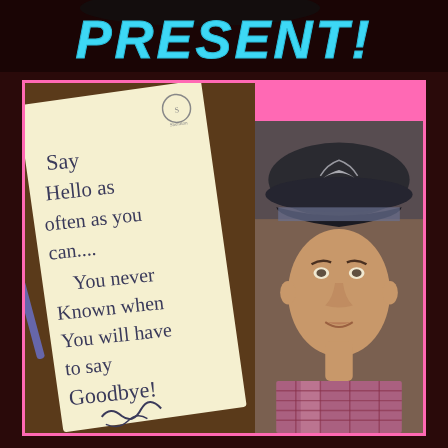PRESENT!
[Figure (photo): Handwritten note on hotel notepad reading: Say Hello as often as you can.... You never Known when You will have to say Goodbye! [signature]]
[Figure (photo): Portrait photo of a young man wearing a dark baseball cap with a wing emblem, plaid shirt, looking at camera]